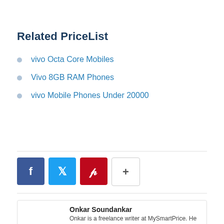Related PriceList
vivo Octa Core Mobiles
Vivo 8GB RAM Phones
vivo Mobile Phones Under 20000
[Figure (infographic): Social share buttons: Facebook (blue), Twitter (light blue), Pinterest (red), and a plus/more button (white with border)]
Onkar Soundankar
Onkar is a freelance writer at MySmartPrice. He is an